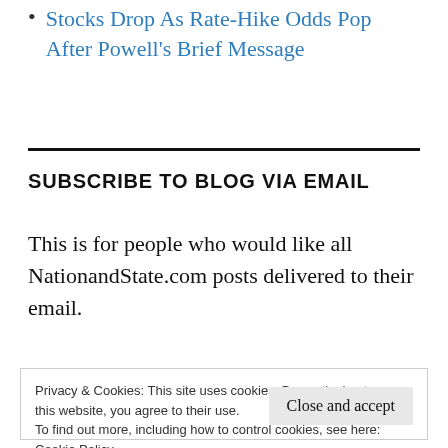Stocks Drop As Rate-Hike Odds Pop After Powell's Brief Message
SUBSCRIBE TO BLOG VIA EMAIL
This is for people who would like all NationandState.com posts delivered to their email.
Privacy & Cookies: This site uses cookies. By continuing to use this website, you agree to their use.
To find out more, including how to control cookies, see here:
Cookie Policy
Close and accept